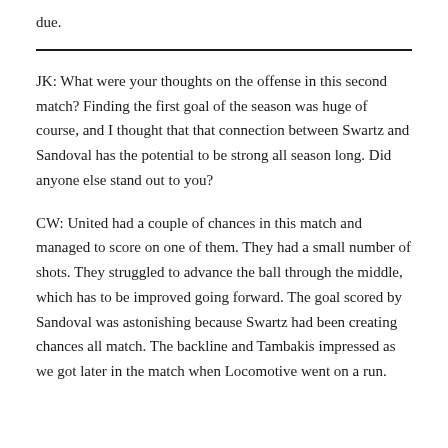due.
JK: What were your thoughts on the offense in this second match? Finding the first goal of the season was huge of course, and I thought that that connection between Swartz and Sandoval has the potential to be strong all season long. Did anyone else stand out to you?
CW: United had a couple of chances in this match and managed to score on one of them. They had a small number of shots. They struggled to advance the ball through the middle, which has to be improved going forward. The goal scored by Sandoval was astonishing because Swartz had been creating chances all match. The backline and Tambakis impressed as we got later in the match when Locomotive went on a run.